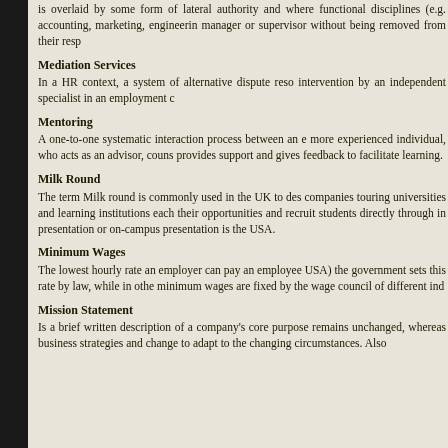is overlaid by some form of lateral authority and where functional disciplines (e.g. accounting, marketing, engineering) manager or supervisor without being removed from their resp
Mediation Services
In a HR context, a system of alternative dispute reso intervention by an independent specialist in an employment c
Mentoring
A one-to-one systematic interaction process between an e more experienced individual, who acts as an advisor, couns provides support and gives feedback to facilitate learning.
Milk Round
The term Milk round is commonly used in the UK to des companies touring universities and learning institutions each their opportunities and recruit students directly through in presentation or on-campus presentation is the USA.
Minimum Wages
The lowest hourly rate an employer can pay an employee USA) the government sets this rate by law, while in othe minimum wages are fixed by the wage council of different ind
Mission Statement
Is a brief written description of a company's core purpose remains unchanged, whereas business strategies and change to adapt to the changing circumstances. Also